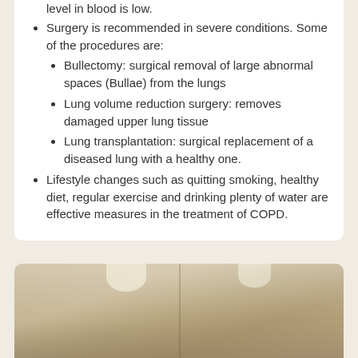level in blood is low.
Surgery is recommended in severe conditions. Some of the procedures are:
Bullectomy: surgical removal of large abnormal spaces (Bullae) from the lungs
Lung volume reduction surgery: removes damaged upper lung tissue
Lung transplantation: surgical replacement of a diseased lung with a healthy one.
Lifestyle changes such as quitting smoking, healthy diet, regular exercise and drinking plenty of water are effective measures in the treatment of COPD.
[Figure (photo): Interior view of a medical facility hallway or room with wooden panel walls and recessed ceiling lights, shown from two angles split by a vertical divider.]